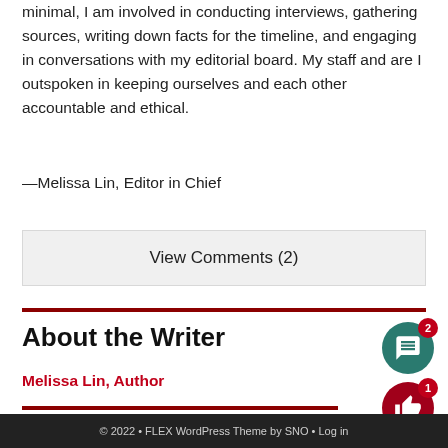minimal, I am involved in conducting interviews, gathering sources, writing down facts for the timeline, and engaging in conversations with my editorial board. My staff and are I outspoken in keeping ourselves and each other accountable and ethical.
—Melissa Lin, Editor in Chief
View Comments (2)
About the Writer
Melissa Lin, Author
© 2022 • FLEX WordPress Theme by SNO • Log in